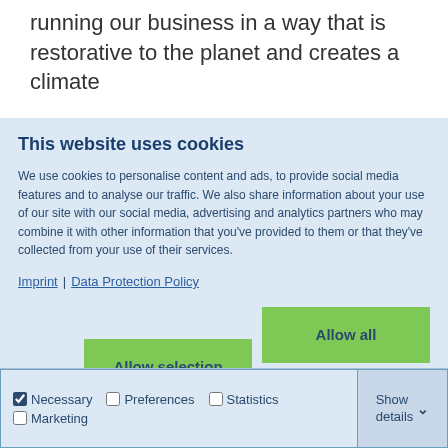running our business in a way that is restorative to the planet and creates a climate
This website uses cookies
We use cookies to personalise content and ads, to provide social media features and to analyse our traffic. We also share information about your use of our site with our social media, advertising and analytics partners who may combine it with other information that you've provided to them or that they've collected from your use of their services.
Imprint | Data Protection Policy
Allow selection
Allow all
Deny
Necessary  Preferences  Statistics  Marketing  Show details